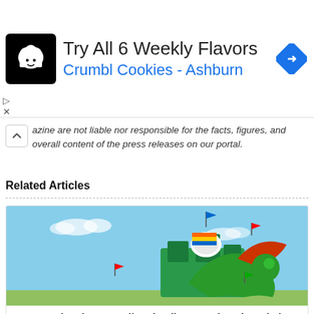[Figure (other): Advertisement banner for Crumbl Cookies - Ashburn with cookie chef logo icon, text 'Try All 6 Weekly Flavors' and 'Crumbl Cookies - Ashburn', and a blue navigation arrow icon]
azine are not liable nor responsible for the facts, figures, and overall content of the press releases on our portal.
Related Articles
[Figure (photo): Photo of a colorful LEGOLAND or theme park attraction with dragon and castle structures against a blue sky, with small flags visible]
Keep Cool at these Family Friendly Attractions in Dubai
August 27, 2022